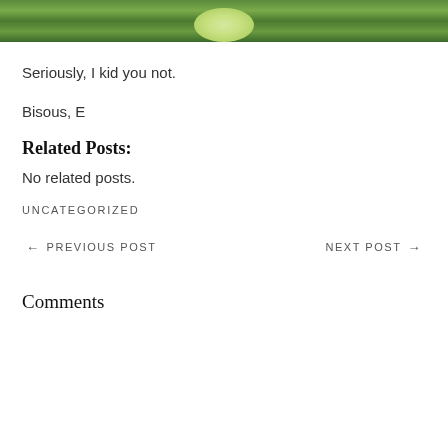[Figure (photo): Partial view of a forest/tree landscape with green foliage at the top of the page]
Seriously, I kid you not.
Bisous, E
Related Posts:
No related posts.
UNCATEGORIZED
← PREVIOUS POST    NEXT POST →
Comments